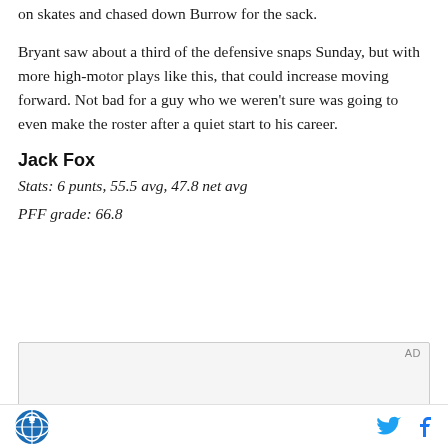on skates and chased down Burrow for the sack.
Bryant saw about a third of the defensive snaps Sunday, but with more high-motor plays like this, that could increase moving forward. Not bad for a guy who we weren't sure was going to even make the roster after a quiet start to his career.
Jack Fox
Stats: 6 punts, 55.5 avg, 47.8 net avg
PFF grade: 66.8
[Figure (other): Advertisement box with 'AD' label]
Site logo icon on left, Twitter and Facebook share icons on right